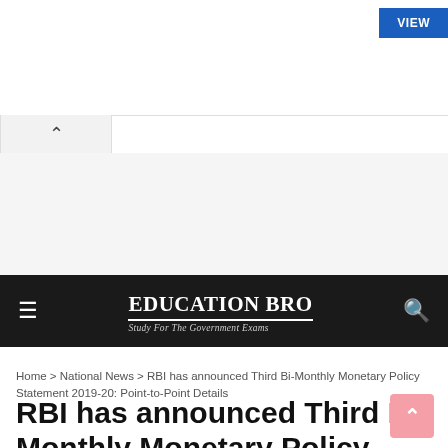[Figure (screenshot): Advertisement banner area with VIEW button in top-right corner]
Education Bro — Study For The Government Exams
Home > National News > RBI has announced Third Bi-Monthly Monetary Policy Statement 2019-20: Point-to-Point Details
RBI has announced Third Bi-Monthly Monetary Policy